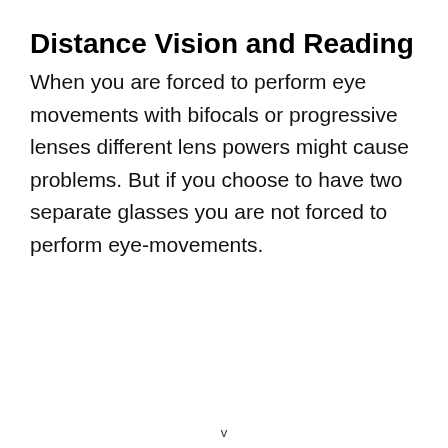Distance Vision and Reading
When you are forced to perform eye movements with bifocals or progressive lenses different lens powers might cause problems. But if you choose to have two separate glasses you are not forced to perform eye-movements.
v